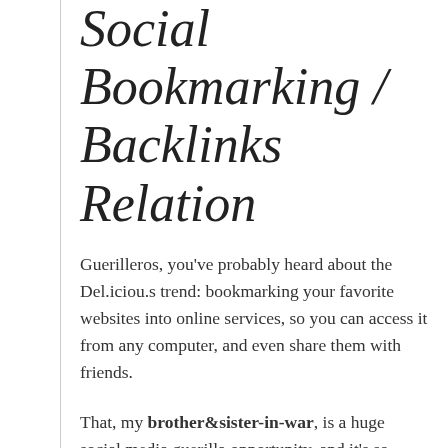Social Bookmarking / Backlinks Relation
Guerilleros, you've probably heard about the Del.iciou.s trend: bookmarking your favorite websites into online services, so you can access it from any computer, and even share them with friends.
That, my brother&sister-in-war, is a huge social media guerilla opportunity, and it's so powerful that it's giving Google a hard time to track.
The thing is that with the record-keeping of your favorites in a remote,